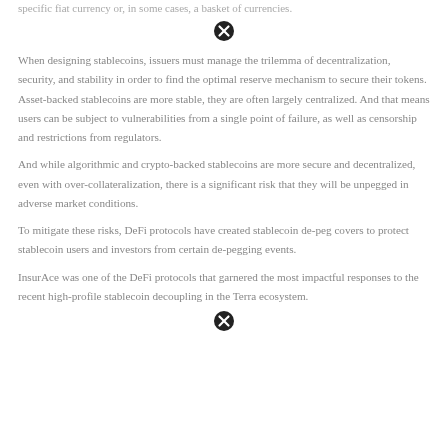specific fiat currency or, in some cases, a basket of currencies.
[Figure (other): Navigation close/cancel icon (circle with X)]
When designing stablecoins, issuers must manage the trilemma of decentralization, security, and stability in order to find the optimal reserve mechanism to secure their tokens. Asset-backed stablecoins are more stable, they are often largely centralized. And that means users can be subject to vulnerabilities from a single point of failure, as well as censorship and restrictions from regulators.
And while algorithmic and crypto-backed stablecoins are more secure and decentralized, even with over-collateralization, there is a significant risk that they will be unpegged in adverse market conditions.
To mitigate these risks, DeFi protocols have created stablecoin de-peg covers to protect stablecoin users and investors from certain de-pegging events.
InsurAce was one of the DeFi protocols that garnered the most impactful responses to the recent high-profile stablecoin decoupling in the Terra ecosystem.
[Figure (other): Navigation close/cancel icon (circle with X)]